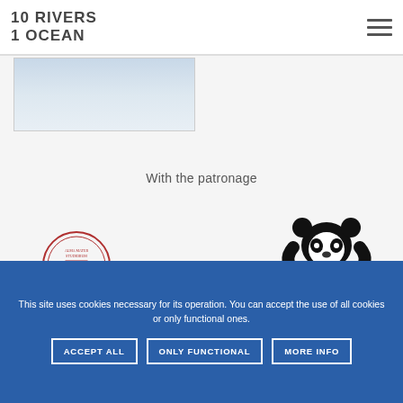10 RIVERS
1 OCEAN
[Figure (photo): Blurred misty water/sky landscape photo in light blue tones]
With the patronage
[Figure (logo): Alma Mater Studiorum university circular seal/crest in red]
[Figure (logo): WWF panda bear logo in black]
This site uses cookies necessary for its operation. You can accept the use of all cookies or only functional ones.
ACCEPT ALL   ONLY FUNCTIONAL   MORE INFO